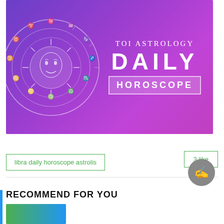[Figure (illustration): TOI Astrology Daily Horoscope banner image with a purple-to-magenta gradient background. On the left is a circular zodiac wheel with astrological symbols and a sun/moon face in the center. On the right side, text reads 'TOI ASTROLOGY' in serif letters, then 'DAILY' in large bold white letters, and 'HOROSCOPE' in a white outlined box.]
libra daily horoscope astrolis
3 like
RECOMMEND FOR YOU